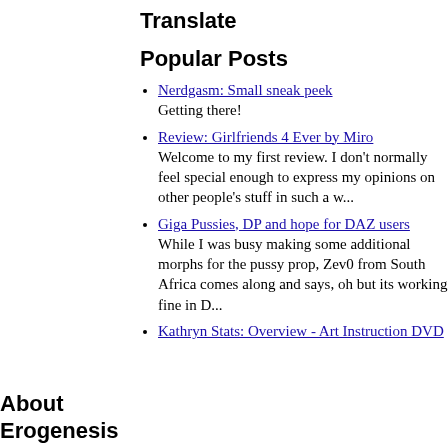Translate
Popular Posts
Nerdgasm: Small sneak peek
Getting there!
Review: Girlfriends 4 Ever by Miro
Welcome to my first review. I don't normally feel special enough to express my opinions on other people's stuff in such a w...
Giga Pussies, DP and hope for DAZ users
While I was busy making some additional morphs for the pussy prop, Zev0 from South Africa comes along and says, oh but its working fine in D...
Kathryn Stats: Overview - Art Instruction DVD
About Erogenesis